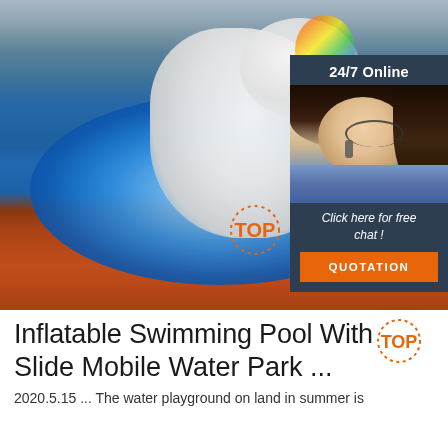[Figure (photo): Inflatable unicorn in a large blue circular inflatable swimming pool on a red surface, outdoors. Overlaid with a 24/7 online customer service chat widget showing a woman with a headset, and a QUOTATION button.]
Inflatable Swimming Pool With Slide Mobile Water Park ...
2020.5.15 ... The water playground on land in summer is